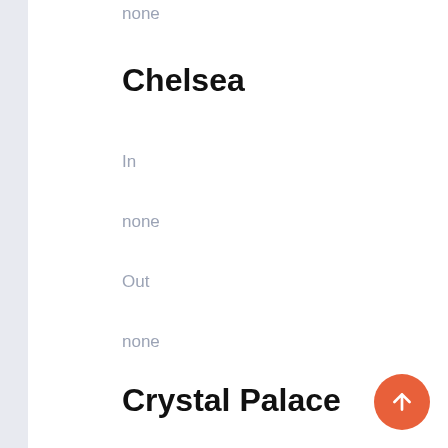none
Chelsea
In
none
Out
none
Crystal Palace
In
none
Out
none